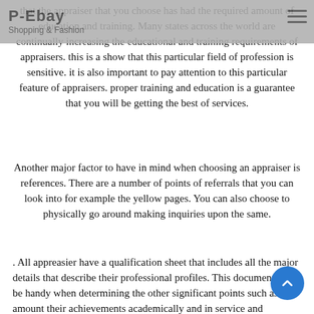P-Ebay
Shopping & Fashion
that the appraiser that you choose has had the required amount of education and training. Many states across the world are continually increasing the educational and training requirements of appraisers. this is a show that this particular field of profession is sensitive. it is also important to pay attention to this particular feature of appraisers. proper training and education is a guarantee that you will be getting the best of services.
Another major factor to have in mind when choosing an appraiser is references. There are a number of points of referrals that you can look into for example the yellow pages. You can also choose to physically go around making inquiries upon the same.
. All appreasier have a qualification sheet that includes all the major details that describe their professional profiles. This document will be handy when determining the other significant points such as the amount their achievements academically and in service and licensing. it is therefore